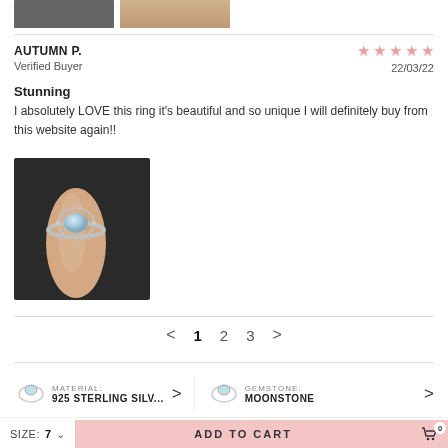[Figure (photo): Two partial thumbnail images of rings on hands at the top of the page]
AUTUMN P.
Verified Buyer
★★★★★ 22/03/22
Stunning
I absolutely LOVE this ring it's beautiful and so unique I will definitely buy from this website again!!
[Figure (photo): Customer photo of a moonstone ring on a finger]
< 1 2 3 >
MATERIAL: 925 STERLING SILV...
GEMSTONE: MOONSTONE
SIZE: 7 ∨  ADD TO CART  0